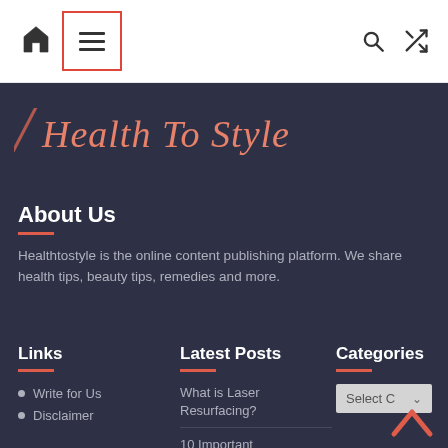[Figure (screenshot): Navigation bar with home icon, hamburger menu (highlighted with red border), search icon, and shuffle icon on white background]
[Figure (logo): Health To Style script logo in coral/salmon color on dark background]
About Us
Healthtostyle is the online content publishing platform. We share health tips, beauty tips, remedies and more.
Links
Write for Us
Disclaimer
Latest Posts
What is Laser Resurfacing?
10 Important
Categories